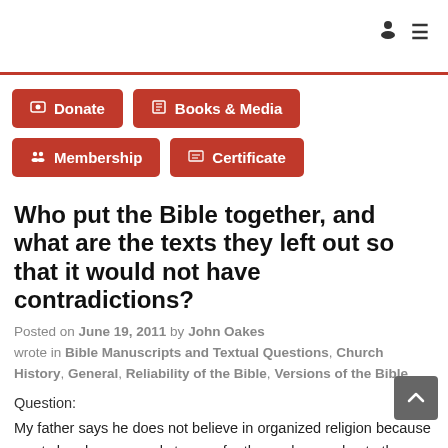Donate
Books & Media
Membership
Certificate
Who put the Bible together, and what are the texts they left out so that it would not have contradictions?
Posted on June 19, 2011 by John Oakes wrote in Bible Manuscripts and Textual Questions, Church History, General, Reliability of the Bible, Versions of the Bible.
Question:
My father says he does not believe in organized religion because most churchs seem only to care for themselves and not other people. He also